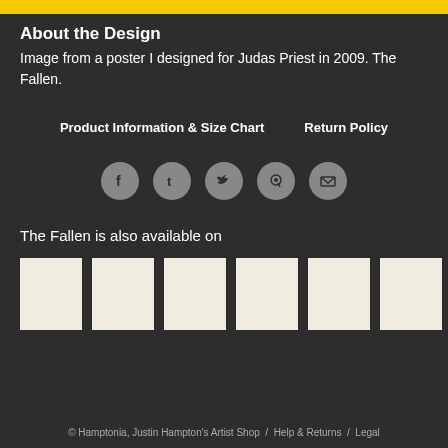[Figure (other): Yellow decorative bar at top of page]
About the Design
Image from a poster I designed for Judas Priest in 2009. The Fallen.
Product Information & Size Chart   Return Policy
[Figure (other): Social media share icons: Facebook, Tumblr, Twitter, Pinterest, Email]
The Fallen is also available on
[Figure (other): Six white/cream product thumbnail images in a row]
© Hamptonia, Justin Hampton's Artist Shop  /  Help & Returns  /  Legal